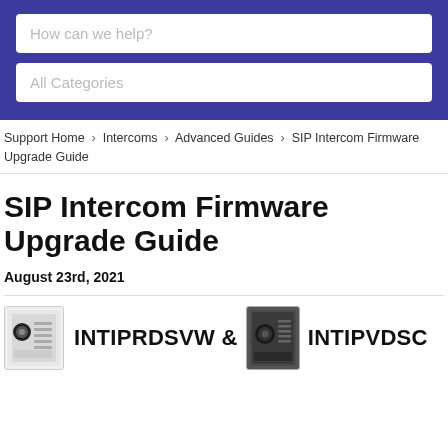[Figure (screenshot): Search bar with placeholder text 'How can we help?']
[Figure (screenshot): Dropdown selector with placeholder text 'All Categories']
Support Home > Intercoms > Advanced Guides > SIP Intercom Firmware Upgrade Guide
SIP Intercom Firmware Upgrade Guide
August 23rd, 2021
[Figure (photo): Product images of INTIPRDSVW and INTIPVDSC intercoms side by side]